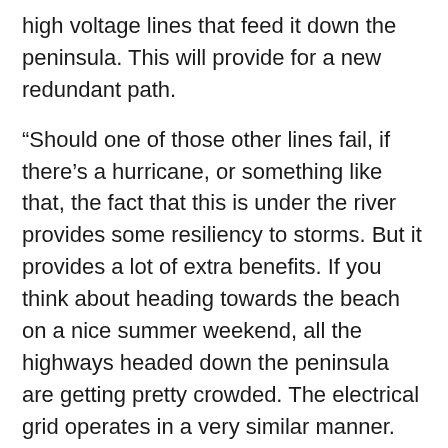high voltage lines that feed it down the peninsula. This will provide for a new redundant path.
“Should one of those other lines fail, if there’s a hurricane, or something like that, the fact that this is under the river provides some resiliency to storms. But it provides a lot of extra benefits. If you think about heading towards the beach on a nice summer weekend, all the highways headed down the peninsula are getting pretty crowded. The electrical grid operates in a very similar manner. So by providing this new path, not only is there the storm resiliency, but it also is like an extra lane on the highway. This can help bring those prices down as well.